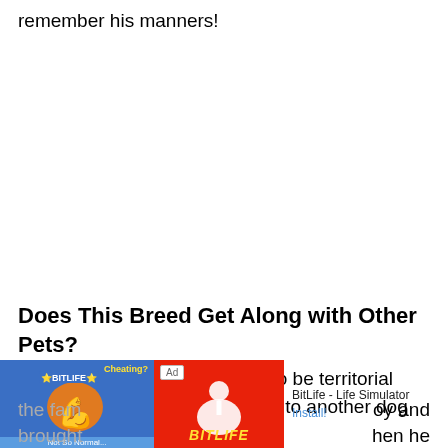remember his manners!
Does This Breed Get Along with Other Pets?
The Pitchow and his potential to be territorial means he might not take kindly to another dog being welcomed into the fam… joy and brought… hen he should…
[Figure (screenshot): Ad banner overlay at bottom of page showing BitLife - Life Simulator app advertisement with 'Ad' label, Cheating? text, muscle/arm icon on blue background, sperm icon on red background, app name 'BitLife - Life Simulator', and Install! button]